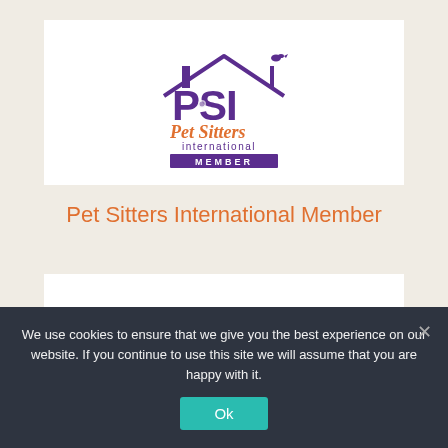[Figure (logo): Pet Sitters International (PSI) Member logo — purple house roofline with bird, large purple letters PSI with small animal icons inside, cursive 'Pet Sitters' text in orange, 'international' in purple, and a purple bar reading 'MEMBER']
Pet Sitters International Member
We use cookies to ensure that we give you the best experience on our website. If you continue to use this site we will assume that you are happy with it.